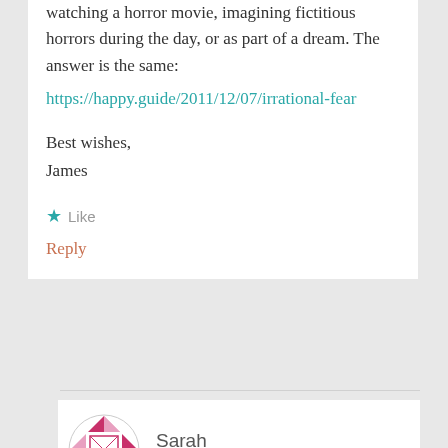watching a horror movie, imagining fictitious horrors during the day, or as part of a dream. The answer is the same:
https://happy.guide/2011/12/07/irrational-fear
Best wishes,
James
Like
Reply
Sarah
OCTOBER 6, 2017 AT 12:16 PM
dear James, Thank you so much. I read the